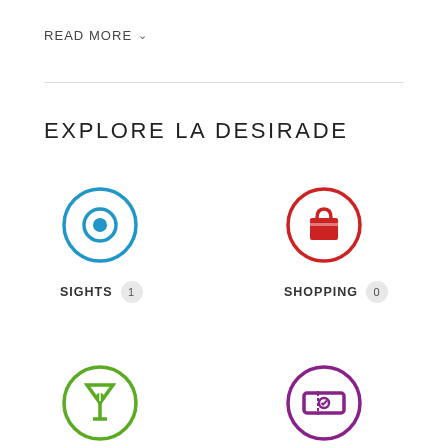READ MORE ∨
EXPLORE LA DESIRADE
[Figure (infographic): Category icons grid: Sights (blue eye icon, count 1), Shopping (red bag icon, count 0), Nightlife (green martini glass icon, count 0), Performing Arts (purple ticket icon, count 0), plus two partially visible icons at bottom]
SIGHTS 1
SHOPPING 0
NIGHTLIFE 0
PERFORMING ARTS 0